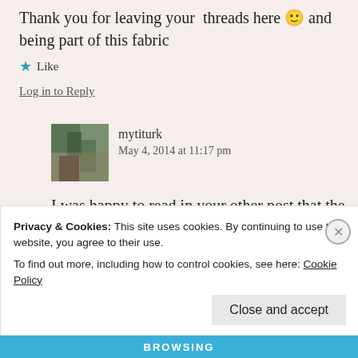Thank you for leaving your threads here 🙂 and being part of this fabric
★ Like
Log in to Reply
mytiturk
May 4, 2014 at 11:17 pm
I was happy to read in your other post that the Onondaga have gained
Privacy & Cookies: This site uses cookies. By continuing to use this website, you agree to their use. To find out more, including how to control cookies, see here: Cookie Policy
Close and accept